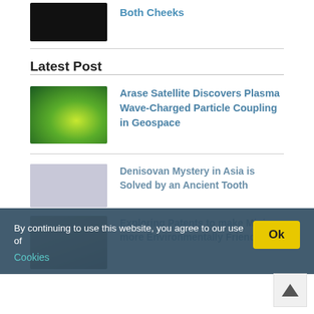[Figure (photo): Dark space image with bright light, article thumbnail for 'Both Cheeks']
Both Cheeks
Latest Post
[Figure (photo): Illustration of Arase satellite with Earth and plasma waves (yellow-green glow)]
Arase Satellite Discovers Plasma Wave-Charged Particle Coupling in Geospace
[Figure (photo): Coins and ancient artifacts image thumbnail]
Denisovan Mystery in Asia is Solved by an Ancient Tooth
[Figure (photo): Mining site aerial photo thumbnail]
Exploring Patents to make Mining more Environmentally Friendly
By continuing to use this website, you agree to our use of Cookies